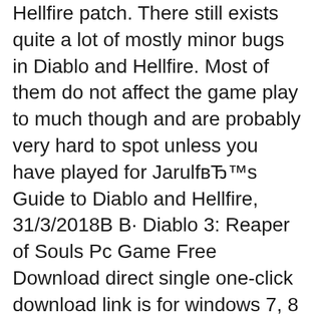Hellfire patch. There still exists quite a lot of mostly minor bugs in Diablo and Hellfire. Most of them do not affect the game play to much though and are probably very hard to spot unless you have played for JarulfвЂ™s Guide to Diablo and Hellfire, 31/3/2018В В· Diablo 3: Reaper of Souls Pc Game Free Download direct single one-click download link is for windows 7, 8 and Windows 10 and mac is the expansion that is first for the action role-playing video clip game Diablo 3.Reaper of Souls adds lots of brand new features to the core gameplay of Diablo 3
Patch bandmaster manual patch free download runes of magic patch manual